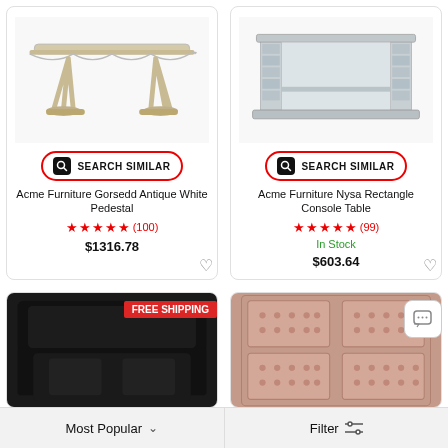[Figure (photo): Acme Furniture Gorsedd Antique White Pedestal dining table with ornate curved legs]
SEARCH SIMILAR
Acme Furniture Gorsedd Antique White Pedestal
★★★★★ (100)
$1316.78
[Figure (photo): Acme Furniture Nysa Rectangle Console Table with mirrored silver finish and crystal columns]
SEARCH SIMILAR
Acme Furniture Nysa Rectangle Console Table
★★★★★ (99)
In Stock
$603.64
[Figure (photo): Black armchair with dark velvet upholstery, FREE SHIPPING badge visible]
[Figure (photo): Pink tufted dresser with multiple drawers and button tufting detail]
FREE SHIPPING
Most Popular
Filter